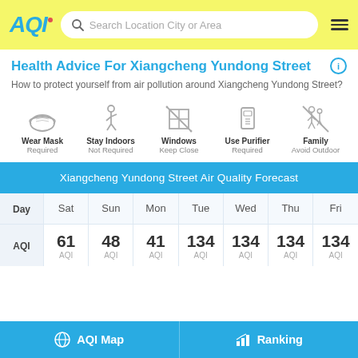AQI — Search Location City or Area
Health Advice For Xiangcheng Yundong Street
How to protect yourself from air pollution around Xiangcheng Yundong Street?
[Figure (infographic): Five health advice icons: Wear Mask (Required), Stay Indoors (Not Required), Windows Keep Close, Use Purifier (Required), Family Avoid Outdoor]
|  | Sat | Sun | Mon | Tue | Wed | Thu | Fri |
| --- | --- | --- | --- | --- | --- | --- | --- |
| Day | Sat | Sun | Mon | Tue | Wed | Thu | Fri |
| AQI | 61
AQI | 48
AQI | 41
AQI | 134
AQI | 134
AQI | 134
AQI | 134
AQI |
AQI Map | Ranking